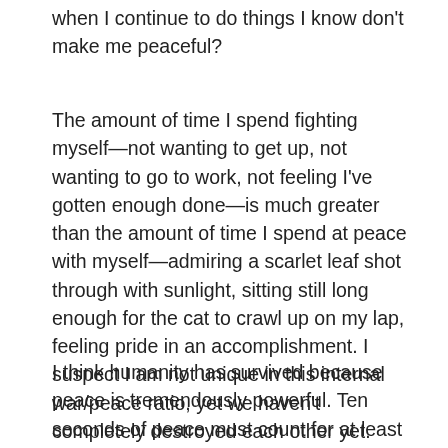when I continue to do things I know don't make me peaceful?
The amount of time I spend fighting myself—not wanting to get up, not wanting to go to work, not feeling I've gotten enough done—is much greater than the amount of time I spend at peace with myself—admiring a scarlet leaf shot through with sunlight, sitting still long enough for the cat to crawl up on my lap, feeling pride in an accomplishment. I suspect I am not unique in this internal war/peace ratio, yet we haven't completely destroyed each other yet.
I think humanity has survived because peace is tremendously powerful. Ten seconds of peace must count for at least ten hours of strife. Which means even in our human-ness, in our infinite capacity for